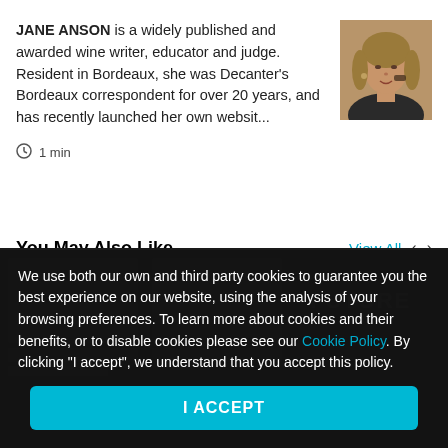JANE ANSON is a widely published and awarded wine writer, educator and judge. Resident in Bordeaux, she was Decanter's Bordeaux correspondent for over 20 years, and has recently launched her own websit...
[Figure (photo): Portrait photo of Jane Anson, a woman with blonde hair, photographed from the shoulders up]
1 min
You May Also Like
View All
We use both our own and third party cookies to guarantee you the best experience on our website, using the analysis of your browsing preferences. To learn more about cookies and their benefits, or to disable cookies please see our Cookie Policy. By clicking "I accept", we understand that you accept this policy.
I ACCEPT